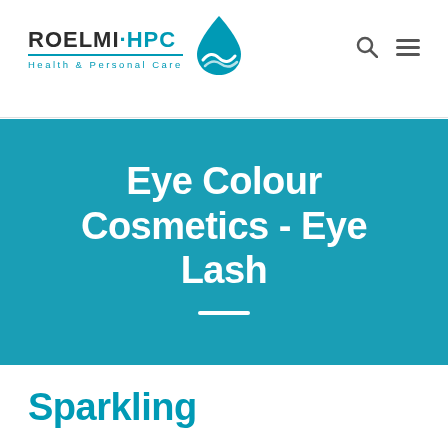ROELMI·HPC Health & Personal Care
Eye Colour Cosmetics - Eye Lash
Sparkling